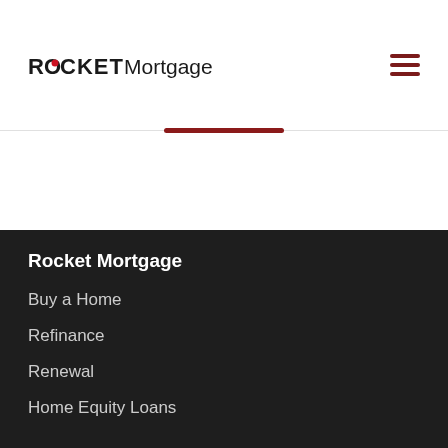ROCKET Mortgage
Rocket Mortgage
Buy a Home
Refinance
Renewal
Home Equity Loans